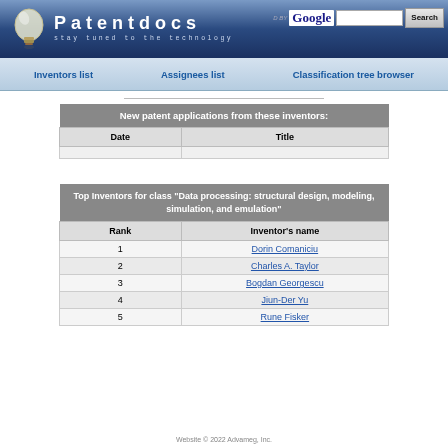Patentdocs — stay tuned to the technology
Inventors list
Assignees list
Classification tree browser
| Date | Title |
| --- | --- |
| Rank | Inventor's name |
| --- | --- |
| 1 | Dorin Comaniciu |
| 2 | Charles A. Taylor |
| 3 | Bogdan Georgescu |
| 4 | Jiun-Der Yu |
| 5 | Rune Fisker |
Website © 2022 Advameg, Inc.